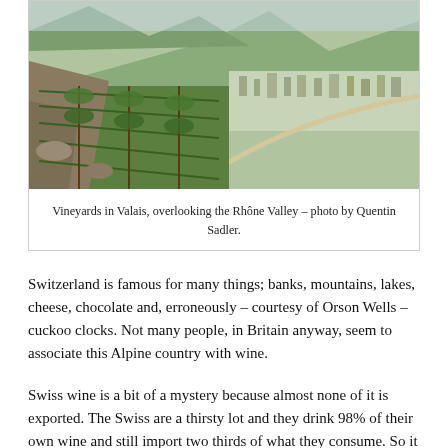[Figure (photo): Vineyards on steep hillside in Valais, Switzerland, overlooking the Rhône Valley. Lush green grapevines on rocky terrain, with a town and mountains visible in the background.]
Vineyards in Valais, overlooking the Rhône Valley – photo by Quentin Sadler.
Switzerland is famous for many things; banks, mountains, lakes, cheese, chocolate and, erroneously – courtesy of Orson Wells – cuckoo clocks. Not many people, in Britain anyway, seem to associate this Alpine country with wine.
Swiss wine is a bit of a mystery because almost none of it is exported. The Swiss are a thirsty lot and they drink 98% of their own wine and still import two thirds of what they consume. So it is hardly surprising that so little Swiss wine leaves the country.